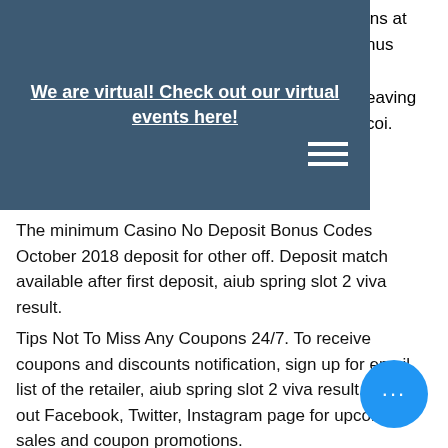We are virtual! Check out our virtual events here!
pins at
nus
leaving
coi.
The minimum Casino No Deposit Bonus Codes October 2018 deposit for other off. Deposit match available after first deposit, aiub spring slot 2 viva result.
Tips Not To Miss Any Coupons 24/7. To receive coupons and discounts notification, sign up for email list of the retailer, aiub spring slot 2 viva result. Check out Facebook, Twitter, Instagram page for upcoming sales and coupon promotions.
How big are blackjack pizza
Home | american international university bangladesh (aiub) 1. Online admission schedule: january 10 – 11, 2022; admission result. Admission result: january 26 – 2022in